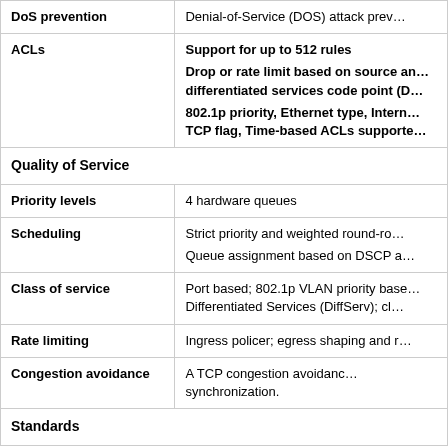| Feature | Description |
| --- | --- |
| DoS prevention | Denial-of-Service (DOS) attack prev… |
| ACLs | Support for up to 512 rules
Drop or rate limit based on source an… differentiated services code point (D…
802.1p priority, Ethernet type, Intern… TCP flag, Time-based ACLs supporte… |
| Quality of Service |  |
| Priority levels | 4 hardware queues |
| Scheduling | Strict priority and weighted round-ro…
Queue assignment based on DSCP a… |
| Class of service | Port based; 802.1p VLAN priority base… Differentiated Services (DiffServ); cl… |
| Rate limiting | Ingress policer; egress shaping and r… |
| Congestion avoidance | A TCP congestion avoidanc… synchronization. |
| Standards |  |